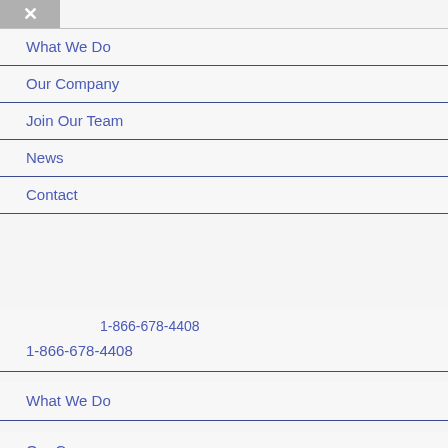X
What We Do
Our Company
Join Our Team
News
Contact
1-866-678-4408
1-866-678-4408
What We Do
Our C...